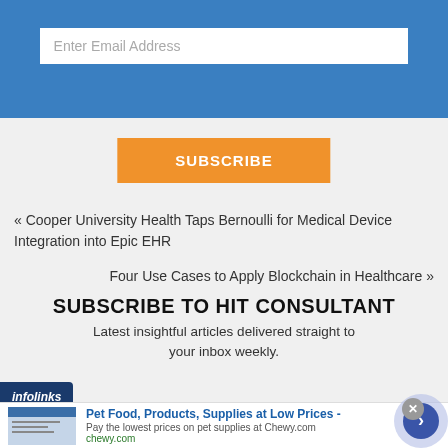Enter Email Address
SUBSCRIBE
« Cooper University Health Taps Bernoulli for Medical Device Integration into Epic EHR
Four Use Cases to Apply Blockchain in Healthcare »
SUBSCRIBE TO HIT CONSULTANT
Latest insightful articles delivered straight to your inbox weekly.
infolinks
Pet Food, Products, Supplies at Low Prices -
Pay the lowest prices on pet supplies at Chewy.com
chewy.com